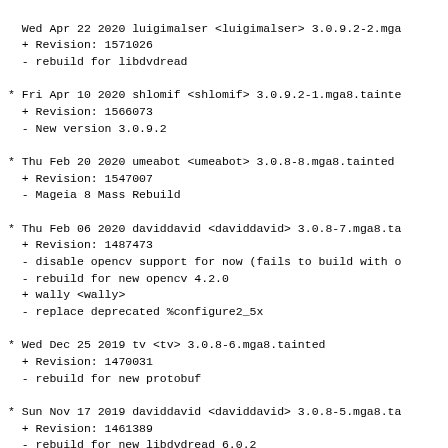Wed Apr 22 2020 luigimalser <luigimalser> 3.0.9.2-2.mga
  + Revision: 1571026
  - rebuild for libdvdread
Fri Apr 10 2020 shlomif <shlomif> 3.0.9.2-1.mga8.tainte
  + Revision: 1566073
  - New version 3.0.9.2
Thu Feb 20 2020 umeabot <umeabot> 3.0.8-8.mga8.tainted
  + Revision: 1547007
  - Mageia 8 Mass Rebuild
Thu Feb 06 2020 daviddavid <daviddavid> 3.0.8-7.mga8.ta
  + Revision: 1487473
  - disable opencv support for now (fails to build with o
  - rebuild for new opencv 4.2.0
  + wally <wally>
  - replace deprecated %configure2_5x
Wed Dec 25 2019 tv <tv> 3.0.8-6.mga8.tainted
  + Revision: 1470031
  - rebuild for new protobuf
Sun Nov 17 2019 daviddavid <daviddavid> 3.0.8-5.mga8.ta
  + Revision: 1461389
  - rebuild for new libdvdread 6.0.2
Sat Oct 19 2019 daviddavid <daviddavid> 3.0.8-4.mga8.ta
  + Revision: 1454597
  - rebuild for new x265
Mon Sep 16 2019 tv <tv> 3.0.8-3.mga8
  + Revision: 1442216
  - revert to lua 5.2 (5.3 needs a newer git snapshot)
  - rebuild for new libnfs
  - link with lua-5.3 instead of 5.2
Wed Aug 21 2019 shlomif <shlomif> 3.0.8-1.mga8
  + Revision: 1421064